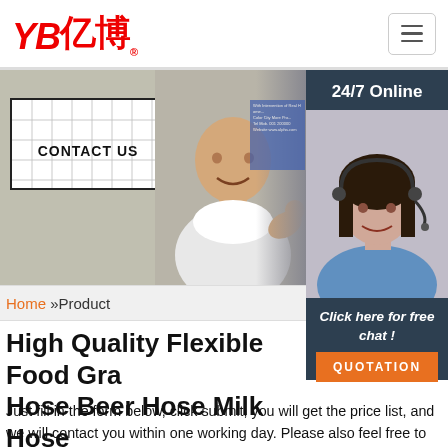YB亿博® [hamburger menu]
[Figure (photo): Trade show photo with man giving thumbs up next to a CONTACT US sign, and a 24/7 online support sidebar with woman wearing headset]
Home »Product
High Quality Flexible Food Gra... Hose Beer Hose Milk Hose
Just fill in the form below, click submit, you will get the price list, and we will contact you within one working day. Please also feel free to contact us via email or phone. (* is required).